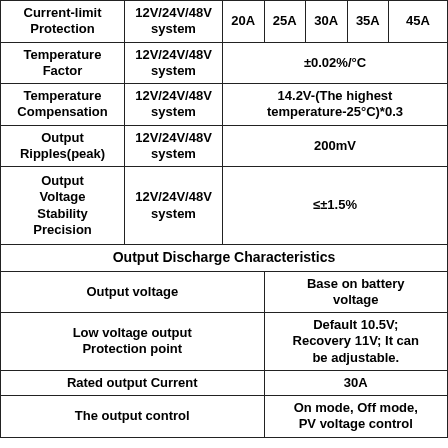| Feature | System | 20A | 25A | 30A | 35A | 45A |
| --- | --- | --- | --- | --- | --- | --- |
| Current-limit Protection | 12V/24V/48V system | 20A | 25A | 30A | 35A | 45A |
| Temperature Factor | 12V/24V/48V system | ±0.02%/°C |  |  |  |  |
| Temperature Compensation | 12V/24V/48V system | 14.2V-(The highest temperature-25°C)*0.3 |  |  |  |  |
| Output Ripples(peak) | 12V/24V/48V system | 200mV |  |  |  |  |
| Output Voltage Stability Precision | 12V/24V/48V system | ≤±1.5% |  |  |  |  |
| Output Discharge Characteristics |  |  |  |  |  |  |
| Output voltage |  | Base on battery voltage |  |  |  |  |
| Low voltage output Protection point |  | Default 10.5V; Recovery 11V; It can be adjustable. |  |  |  |  |
| Rated output Current |  | 30A |  |  |  |  |
| The output control |  | On mode, Off mode, PV voltage control |  |  |  |  |